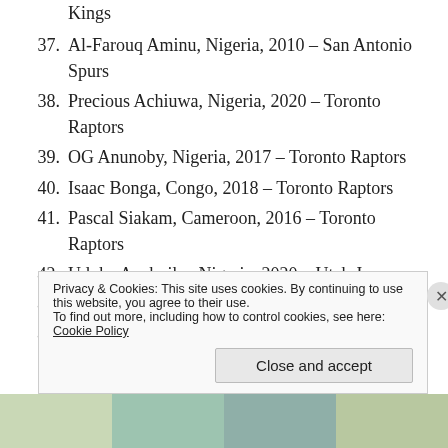Kings
37. Al-Farouq Aminu, Nigeria, 2010 – San Antonio Spurs
38. Precious Achiuwa, Nigeria, 2020 – Toronto Raptors
39. OG Anunoby, Nigeria, 2017 – Toronto Raptors
40. Isaac Bonga, Congo, 2018 – Toronto Raptors
41. Pascal Siakam, Cameroon, 2016 – Toronto Raptors
42. Udoka Azubuike, Nigeria, 2020 – Utah Jazz
43. Miye Oni, Nigeria, 2019 – Utah Jazz
44. Joel Avavi. Benin-France. undrafted 2020 –
Privacy & Cookies: This site uses cookies. By continuing to use this website, you agree to their use. To find out more, including how to control cookies, see here: Cookie Policy
Close and accept